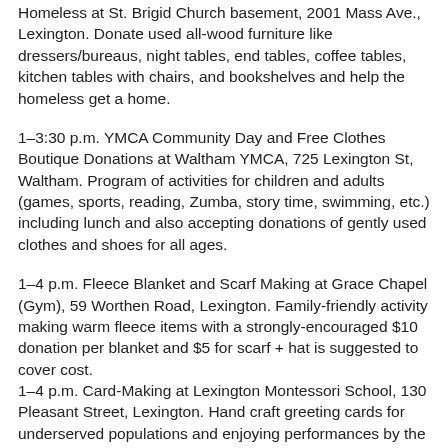Homeless at St. Brigid Church basement, 2001 Mass Ave., Lexington. Donate used all-wood furniture like dressers/bureaus, night tables, end tables, coffee tables, kitchen tables with chairs, and bookshelves and help the homeless get a home.
1–3:30 p.m. YMCA Community Day and Free Clothes Boutique Donations at Waltham YMCA, 725 Lexington St, Waltham. Program of activities for children and adults (games, sports, reading, Zumba, story time, swimming, etc.) including lunch and also accepting donations of gently used clothes and shoes for all ages.
1–4 p.m. Fleece Blanket and Scarf Making at Grace Chapel (Gym), 59 Worthen Road, Lexington. Family-friendly activity making warm fleece items with a strongly-encouraged $10 donation per blanket and $5 for scarf + hat is suggested to cover cost.
1–4 p.m. Card-Making at Lexington Montessori School, 130 Pleasant Street, Lexington. Hand craft greeting cards for underserved populations and enjoying performances by the Music Makes Me Happy Chorus.